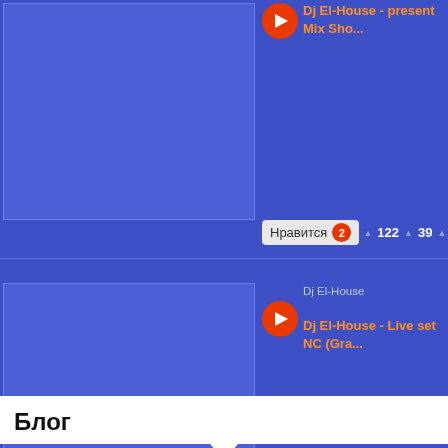[Figure (screenshot): Music track thumbnail placeholder, blue background, first track card]
Dj El-House - present Mix Sho...
Нравится 2  □ 122  □ 39  □ 0
[Figure (screenshot): Music track thumbnail placeholder, blue background, second track card]
Dj El-House
Dj El-House - Live set NC (Gra...
Нравится 2  □ 78  □ 49  □ 0
Блог
[Figure (screenshot): Blog post thumbnail placeholder, blue background]
Dj El-House & Dj WalkmaN Collection# 4
Dj El-House & Dj WalkmaN Crazy Mash-Up...